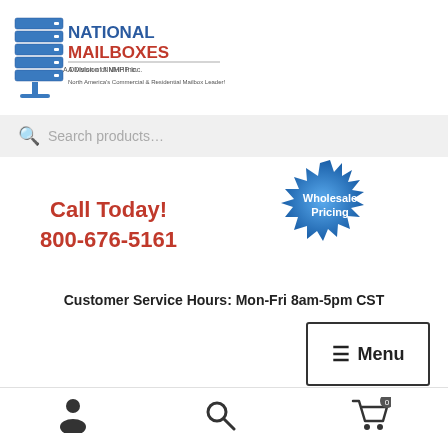[Figure (logo): National Mailboxes logo - A Division of NMHP Inc. North America's Commercial & Residential Mailbox Leader!]
Search products…
Call Today!
800-676-5161
[Figure (illustration): Blue starburst badge with text 'Wholesale Pricing']
Customer Service Hours: Mon-Fri 8am-5pm CST
≡ Menu
Home > Uncategorized > 30 A Size Door Cell Phone Storage Locker – 6 High Unit (5″ Deep Compartments) Recessed Wall Mount